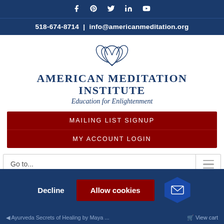Social media icons: Facebook, Pinterest, Twitter, LinkedIn, YouTube
518-674-8714 | info@americanmeditation.org
[Figure (logo): American Meditation Institute lotus flower logo with text: AMERICAN MEDITATION INSTITUTE - Education for Enlightenment]
MAILING LIST SIGNUP
MY ACCOUNT LOGIN
Go to...
Decline  Allow cookies
Ayurveda Secrets of Healing by Maya ...  View cart